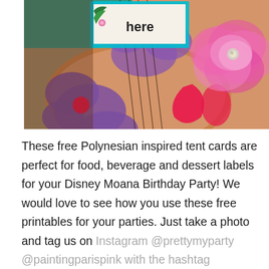[Figure (photo): A Moana-themed ukulele with purple and pink tropical flower designs painted on it. In the upper left is a teal-bordered tent card with text 'here'. On the right side is a large pink tissue paper flower decoration with a silver center.]
These free Polynesian inspired tent cards are perfect for food, beverage and dessert labels for your Disney Moana Birthday Party! We would love to see how you use these free printables for your parties. Just take a photo and tag us on Instagram @prettymyparty @paintingparispink with the hashtag #prettymyparty. You might